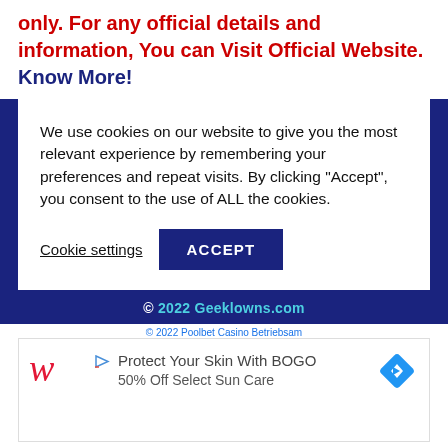only. For any official details and information, You can Visit Official Website. Know More!
We use cookies on our website to give you the most relevant experience by remembering your preferences and repeat visits. By clicking "Accept", you consent to the use of ALL the cookies.
Cookie settings  ACCEPT
© 2022 Geeklowns.com
[Figure (screenshot): Advertisement banner: Walgreens logo with Protect Your Skin With BOGO 50% Off Select Sun Care text and a blue diamond navigation icon]
© 2022 Poolbet Casino Betriebsam